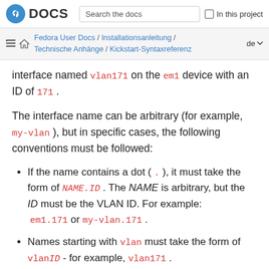Fedora DOCS | Search the docs | In this project
Fedora User Docs / Installationsanleitung / Technische Anhänge / Kickstart-Syntaxreferenz | de
interface named vlan171 on the em1 device with an ID of 171 .
The interface name can be arbitrary (for example, my-vlan ), but in specific cases, the following conventions must be followed:
If the name contains a dot ( . ), it must take the form of NAME.ID . The NAME is arbitrary, but the ID must be the VLAN ID. For example: em1.171 or my-vlan.171 .
Names starting with vlan must take the form of vlanID - for example, vlan171 .